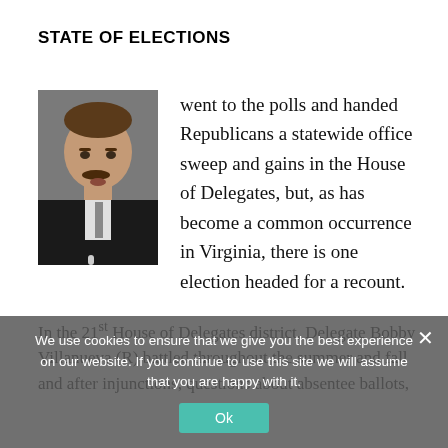STATE OF ELECTIONS
[Figure (photo): Headshot of a man with a mustache wearing a dark suit, facing slightly right, with a microphone visible at the bottom.]
went to the polls and handed Republicans a statewide office sweep and gains in the House of Delegates, but, as has become a common occurrence in Virginia, there is one election headed for a recount.
In the 21st House of Delegates district, Delegate Bobby Villanueva (R) battled throughout the summer and fall and after injunctions, questions about absentee ballots,